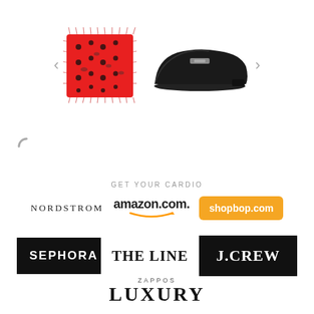[Figure (screenshot): E-commerce product carousel showing a red furry bag with embellishments and a black leather loafer shoe, with left/right navigation arrows]
[Figure (other): Loading spinner (letter C shape) indicating content loading]
GET YOUR CARDIO
[Figure (logo): Row of retailer logos: Nordstrom, amazon.com, shopbop.com]
[Figure (logo): Row of retailer logos: SEPHORA, THE LINE, J.CREW]
[Figure (logo): ZAPPOS LUXURY logo]